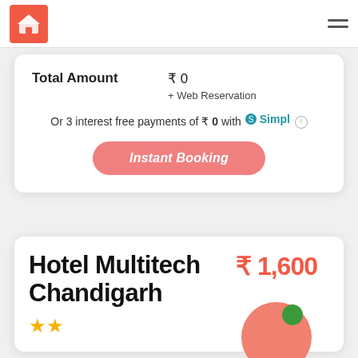Logo and navigation menu
Total Amount  ₹ 0  + Web Reservation
Or 3 interest free payments of ₹ 0 with Simpl
Instant Booking
Hotel Multitech Chandigarh
₹ 1,600  Deluxe Room